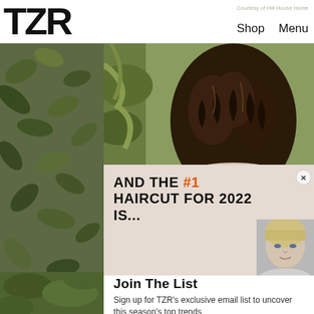[Figure (logo): TZR logo in large bold black sans-serif font]
Shop   Menu
[Figure (photo): Woman seen from behind with long curly dark brown hair, wearing a cream sweater, surrounded by green foliage]
AND THE #1 HAIRCUT FOR 2022 IS...
[Figure (photo): Small thumbnail of a blonde woman facing forward, cropped to face and neck]
Join The List
Sign up for TZR's exclusive email list to uncover this season's top trends
[Figure (screenshot): Email subscription form with Email address input field and Subscribe button in dark purple with orange text]